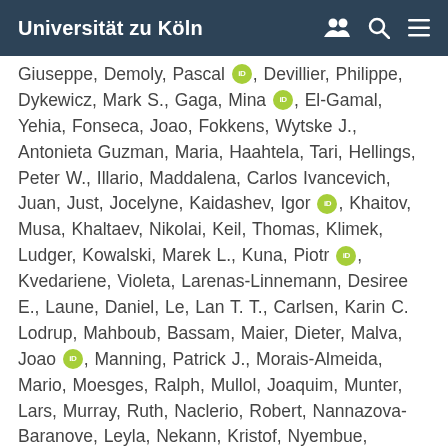Universität zu Köln
Giuseppe, Demoly, Pascal [iD], Devillier, Philippe, Dykewicz, Mark S., Gaga, Mina [iD], El-Gamal, Yehia, Fonseca, Joao, Fokkens, Wytske J., Antonieta Guzman, Maria, Haahtela, Tari, Hellings, Peter W., Illario, Maddalena, Carlos Ivancevich, Juan, Just, Jocelyne, Kaidashev, Igor [iD], Khaitov, Musa, Khaltaev, Nikolai, Keil, Thomas, Klimek, Ludger, Kowalski, Marek L., Kuna, Piotr [iD], Kvedariene, Violeta, Larenas-Linnemann, Desiree E., Laune, Daniel, Le, Lan T. T., Carlsen, Karin C. Lodrup, Mahboub, Bassam, Maier, Dieter, Malva, Joao [iD], Manning, Patrick J., Morais-Almeida, Mario, Moesges, Ralph, Mullol, Joaquim, Munter, Lars, Murray, Ruth, Naclerio, Robert, Nannazova-Baranove, Leyla, Nekann, Kristof, Nyembue, Tshipukane Dieudonne, Okubo, Kimi